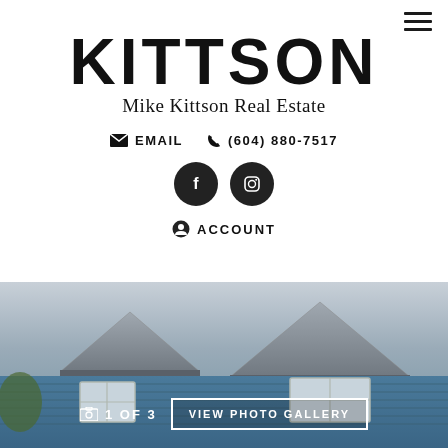[Figure (logo): Kittson / Mike Kittson Real Estate logo with hamburger menu icon]
EMAIL  (604) 880-7517
[Figure (infographic): Facebook and Instagram social media circular icon buttons]
ACCOUNT
[Figure (photo): Exterior photo of a blue house showing roofline and windows, with overlay showing '1 OF 3' and 'VIEW PHOTO GALLERY' button]